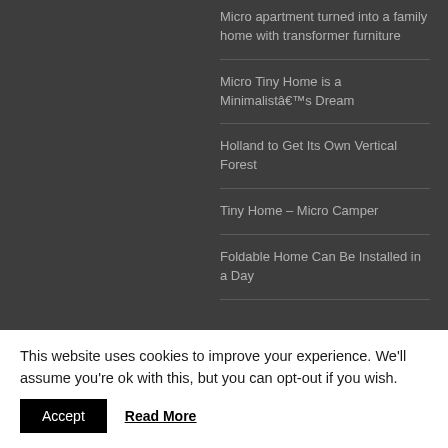Micro apartment turned into a family home with transformer furniture
Micro Tiny Home is a Minimalistâ€™s Dream
Holland to Get Its Own Vertical Forest
Tiny Home – Micro Camper
Foldable Home Can Be Installed in a Day
This website uses cookies to improve your experience. We'll assume you're ok with this, but you can opt-out if you wish.
Accept
Read More